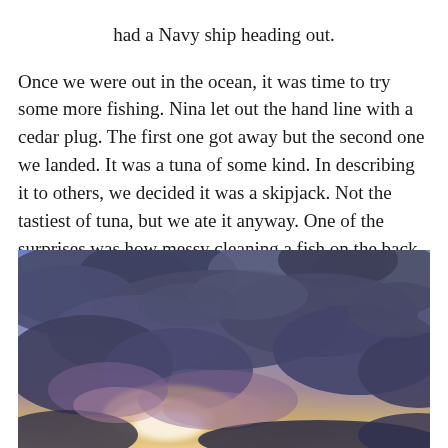had a Navy ship heading out.
Once we were out in the ocean, it was time to try some more fishing. Nina let out the hand line with a cedar plug. The first one got away but the second one we landed. It was a tuna of some kind. In describing it to others, we decided it was a skipjack. Not the tastiest of tuna, but we ate it anyway. One of the surprises was how messy cleaning a fish on the back of a bouncing sailboat can be, even after bleeding it (but probably not enough). Needless to say, we'll save you that photo.
[Figure (photo): A dramatic twilight sky with dark purple and blue clouds illuminated by a warm glow of light near the horizon, suggesting sunset or sunrise over open water.]